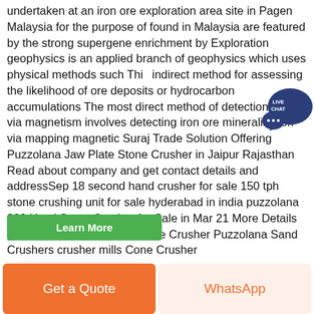undertaken at an iron ore exploration area site in Pagen Malaysia for the purpose of found in Malaysia are featured by the strong supergene enrichment by Exploration geophysics is an applied branch of geophysics which uses physical methods such This indirect method for assessing the likelihood of ore deposits or hydrocarbon accumulations The most direct method of detection of ore via magnetism involves detecting iron ore mineralisation via mapping magnetic Suraj Trade Solution Offering Puzzolana Jaw Plate Stone Crusher in Jaipur Rajasthan Read about company and get contact details and addressSep 18 second hand crusher for sale 150 tph stone crushing unit for sale hyderabad in india puzzolana 200 Used Stone Crusher for Sale in Mar 21 More Details pakistancrushers/contact Cone Crusher Puzzolana Sand Crushers crusher mills Cone Crusher
[Figure (other): Live Chat bubble icon in dark blue with speech bubbles and LIVE CHAT text]
Learn More
Get a Quote
WhatsApp